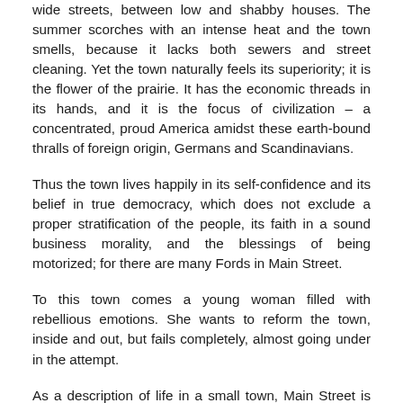wide streets, between low and shabby houses. The summer scorches with an intense heat and the town smells, because it lacks both sewers and street cleaning. Yet the town naturally feels its superiority; it is the flower of the prairie. It has the economic threads in its hands, and it is the focus of civilization – a concentrated, proud America amidst these earth-bound thralls of foreign origin, Germans and Scandinavians.
Thus the town lives happily in its self-confidence and its belief in true democracy, which does not exclude a proper stratification of the people, its faith in a sound business morality, and the blessings of being motorized; for there are many Fords in Main Street.
To this town comes a young woman filled with rebellious emotions. She wants to reform the town, inside and out, but fails completely, almost going under in the attempt.
As a description of life in a small town, Main Street is certainly one of the best ever written. To be sure, the town is first and foremost American, but it could, as a